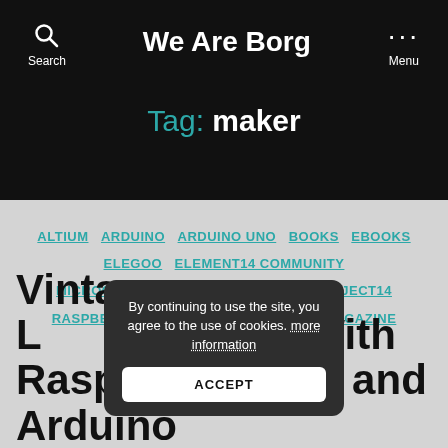We Are Borg
Tag: maker
ALTIUM  ARDUINO  ARDUINO UNO  BOOKS  EBOOKS  ELEGOO  ELEMENT14 COMMUNITY  MICROCONTROLLERS  PROJECT14  PROJECT14  RASPBERRY PI  THE SHED  THE SHED MAGAZINE
Vintage Learning With Raspberry Pi and Arduino
By continuing to use the site, you agree to the use of cookies. more information
ACCEPT